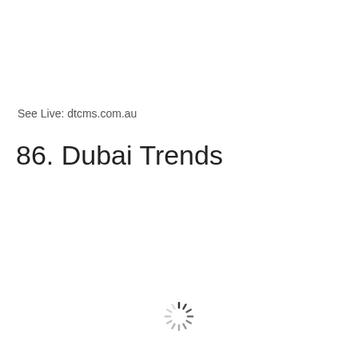See Live: dtcms.com.au
86. Dubai Trends
[Figure (other): A loading spinner icon (circular dashed ring) centered near the bottom of the page]